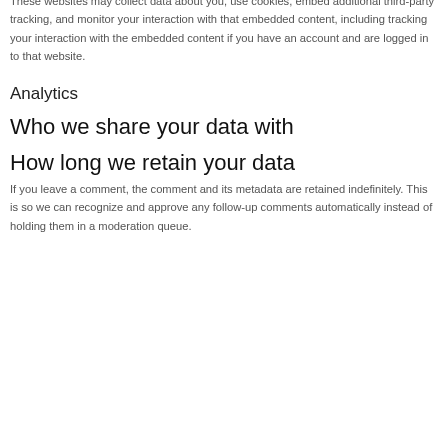videos, images, articles, etc.). Embedded content from other websites behaves in the exact same way as if the visitor has visited the other website.
These websites may collect data about you, use cookies, embed additional third-party tracking, and monitor your interaction with that embedded content, including tracking your interaction with the embedded content if you have an account and are logged in to that website.
Analytics
Who we share your data with
How long we retain your data
If you leave a comment, the comment and its metadata are retained indefinitely. This is so we can recognize and approve any follow-up comments automatically instead of holding them in a moderation queue.